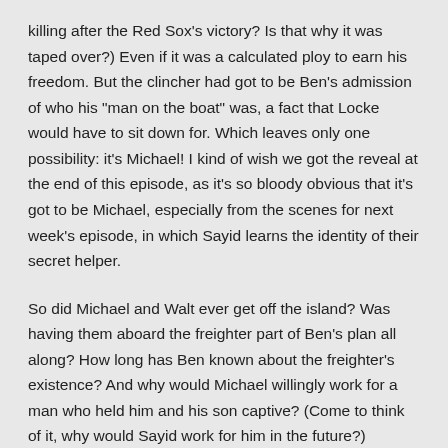killing after the Red Sox's victory? Is that why it was taped over?) Even if it was a calculated ploy to earn his freedom. But the clincher had got to be Ben's admission of who his "man on the boat" was, a fact that Locke would have to sit down for. Which leaves only one possibility: it's Michael! I kind of wish we got the reveal at the end of this episode, as it's so bloody obvious that it's got to be Michael, especially from the scenes for next week's episode, in which Sayid learns the identity of their secret helper.
So did Michael and Walt ever get off the island? Was having them aboard the freighter part of Ben's plan all along? How long has Ben known about the freighter's existence? And why would Michael willingly work for a man who held him and his son captive? (Come to think of it, why would Sayid work for him in the future?)